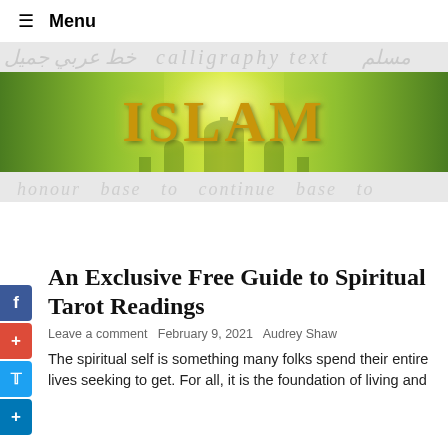≡ Menu
[Figure (illustration): Islam website banner with golden 3D 'ISLAM' text on a green gradient background with mosque silhouette, flanked by watermark calligraphic text on light grey background]
An Exclusive Free Guide to Spiritual Tarot Readings
Leave a comment  February 9, 2021  Audrey Shaw
The spiritual self is something many folks spend their entire lives seeking to get. For all, it is the foundation of living and